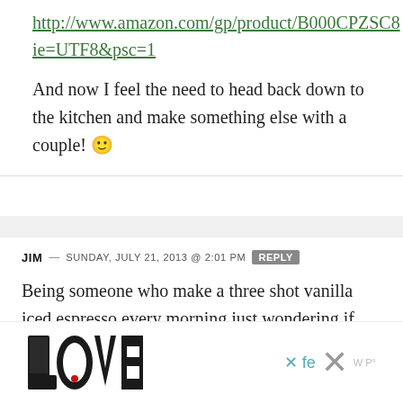http://www.amazon.com/gp/product/B000CPZSC8ie=UTF8&psc=1
And now I feel the need to head back down to the kitchen and make something else with a couple! 🙂
JIM — SUNDAY, JULY 21, 2013 @ 2:01 PM  REPLY
Being someone who make a three shot vanilla iced espresso every morning just wondering if you can freeze the sryup into small individual
[Figure (logo): LOVE logo with decorative zentangle-style letters, black and white with a red dot]